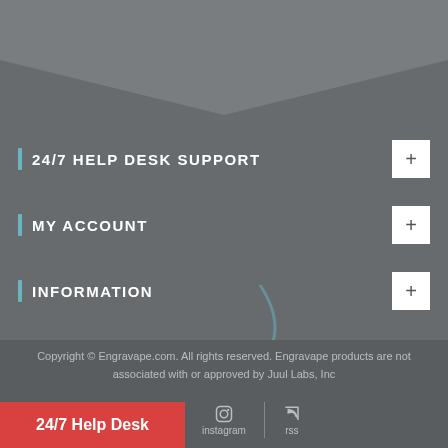[Figure (screenshot): Dark grey background with chevron/arrow pointing downward at the top]
24/7 HELP DESK SUPPORT
MY ACCOUNT
INFORMATION
Copyright © Engravape.com. All rights reserved. Engravape products are not associated with or approved by Juul Labs, Inc
24/7 Help Desk